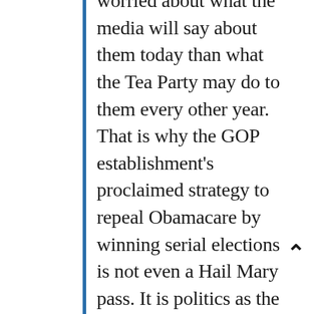worried about what the media will say about them today than what the Tea Party may do to them every other year. That is why the GOP establishment's proclaimed strategy to repeal Obamacare by winning serial elections is not even a Hail Mary pass. It is politics as the art of the impossible.